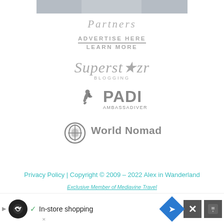[Figure (photo): Partial photo of a person at the top of the page, cropped, showing upper body in light clothing]
Partners
[Figure (other): Advertise Here / Learn More text block with underline]
[Figure (logo): Superstar Blogging logo in gray italic script]
[Figure (logo): PADI AmbassaDiver logo in gray]
[Figure (logo): World Nomads logo in gray]
Privacy Policy | Copyright © 2009 – 2022 Alex in Wanderland
Exclusive Member of Mediavine Travel
[Figure (other): Advertisement bar at bottom: In-store shopping ad with icons]